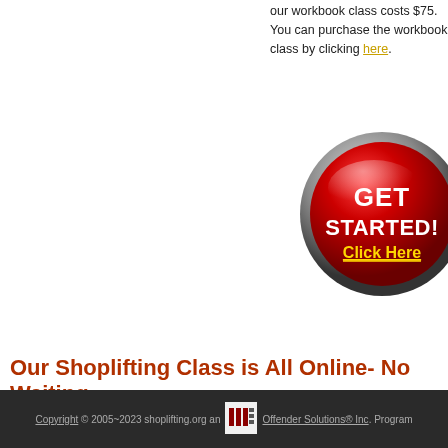our workbook class costs $75. You can purchase the workbook class by clicking here.
[Figure (illustration): Red circular 'GET STARTED! Click Here' button with metallic border]
Our Shoplifting Class is All Online- No Waiting
Some "online" programs offer "downloadable" documents for you to print out. Some "online" programs require phone calls, mailings or e-mail going back and forth - not ours! Our ONLINE program is 100% ONLINE!
Copyright © 2005~2023 shoplifting.org an [logo] Offender Solutions® Inc. Program